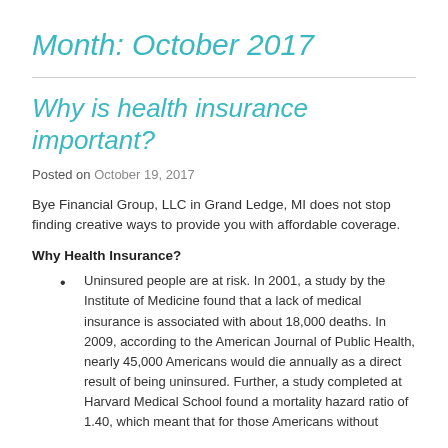Month: October 2017
Why is health insurance important?
Posted on October 19, 2017
Bye Financial Group, LLC in Grand Ledge, MI does not stop finding creative ways to provide you with affordable coverage.
Why Health Insurance?
Uninsured people are at risk. In 2001, a study by the Institute of Medicine found that a lack of medical insurance is associated with about 18,000 deaths. In 2009, according to the American Journal of Public Health, nearly 45,000 Americans would die annually as a direct result of being uninsured. Further, a study completed at Harvard Medical School found a mortality hazard ratio of 1.40, which meant that for those Americans without